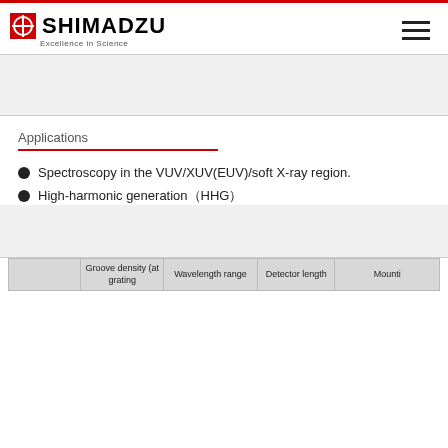SHIMADZU Excellence in Science
Applications
Spectroscopy in the VUV/XUV(EUV)/soft X-ray region.
High-harmonic generation（HHG）
|  | Groove density (at grating) | Wavelength range | Detector length | Mounti... |
| --- | --- | --- | --- | --- |